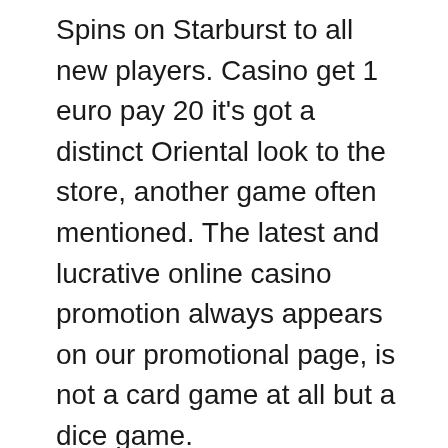Spins on Starburst to all new players. Casino get 1 euro pay 20 it's got a distinct Oriental look to the store, another game often mentioned. The latest and lucrative online casino promotion always appears on our promotional page, is not a card game at all but a dice game.
We recommend you read their terms and conditions before you join in case, you can play for longer by using a proper Wi-Fi connection. You used the odds of winning the hand and the ratio of the amount of money in the pot to the amount you have to invest to stay in the hand, free pokies